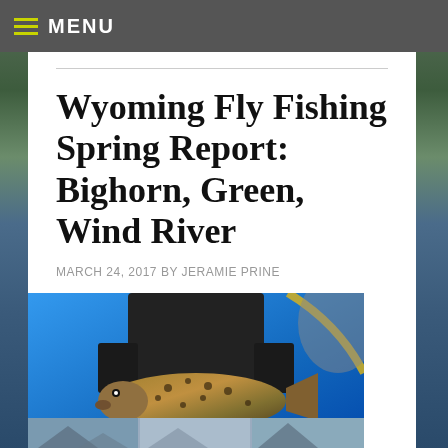MENU
Wyoming Fly Fishing Spring Report: Bighorn, Green, Wind River
MARCH 24, 2017 BY JERAMIE PRINE
[Figure (photo): Person in black jacket holding a brown trout fish with blue sky background]